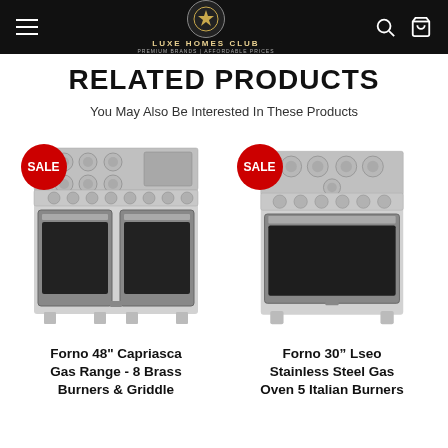Luxe Homes Club — Premium Brands | Affordable Prices
RELATED PRODUCTS
You May Also Be Interested In These Products
[Figure (photo): Forno 48" Capriasca Gas Range - 8 Brass Burners & Griddle, stainless steel, with SALE badge]
Forno 48" Capriasca Gas Range - 8 Brass Burners & Griddle
[Figure (photo): Forno 30" Lseo Stainless Steel Gas Oven 5 Italian Burners, with SALE badge]
Forno 30” Lseo Stainless Steel Gas Oven 5 Italian Burners